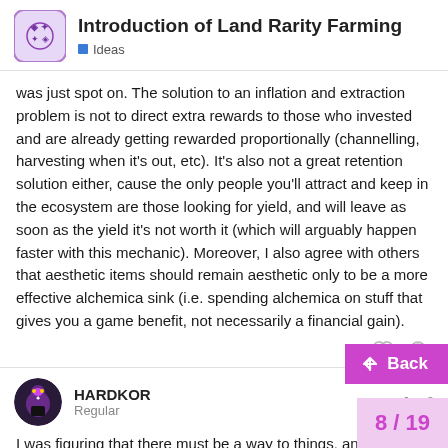Introduction of Land Rarity Farming — Ideas
was just spot on. The solution to an inflation and extraction problem is not to direct extra rewards to those who invested and are already getting rewarded proportionally (channelling, harvesting when it's out, etc). It's also not a great retention solution either, cause the only people you'll attract and keep in the ecosystem are those looking for yield, and will leave as soon as the yield it's not worth it (which will arguably happen faster with this mechanic). Moreover, I also agree with others that aesthetic items should remain aesthetic only to be a more effective alchemica sink (i.e. spending alchemica on stuff that gives you a game benefit, not necessarily a financial gain).
HARDKOR
Regular
Jun 8
I was figuring that there must be a way to things, and then use a modifier to get th